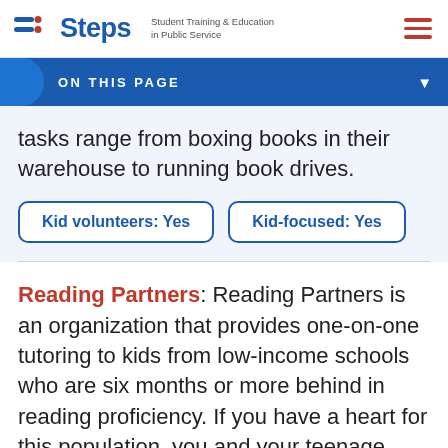Steps — Student Training & Education in Public Service
ON THIS PAGE
tasks range from boxing books in their warehouse to running book drives.
Kid volunteers: Yes
Kid-focused: Yes
Reading Partners: Reading Partners is an organization that provides one-on-one tutoring to kids from low-income schools who are six months or more behind in reading proficiency. If you have a heart for this population, you and your teenage kids (14 or older) can volunteer to